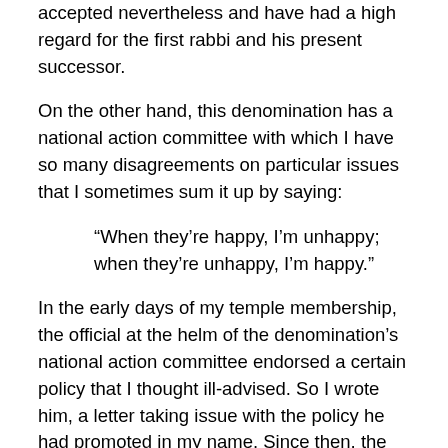accepted nevertheless and have had a high regard for the first rabbi and his present successor.
On the other hand, this denomination has a national action committee with which I have so many disagreements on particular issues that I sometimes sum it up by saying:
“When they’re happy, I’m unhappy; when they’re unhappy, I’m happy.”
In the early days of my temple membership, the official at the helm of the denomination’s national action committee endorsed a certain policy that I thought ill-advised. So I wrote him, a letter taking issue with the policy he had promoted in my name. Since then, the official has gone up the ladder of status and influence to a high position: something like the controller of religious traffic in our galaxy. Back then, however, he had time for me and sent a